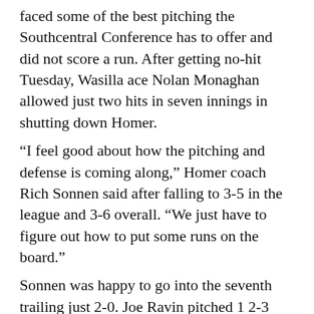faced some of the best pitching the Southcentral Conference has to offer and did not score a run. After getting no-hit Tuesday, Wasilla ace Nolan Monaghan allowed just two hits in seven innings in shutting down Homer.
“I feel good about how the pitching and defense is coming along,” Homer coach Rich Sonnen said after falling to 3-5 in the league and 3-6 overall. “We just have to figure out how to put some runs on the board.”
Sonnen was happy to go into the seventh trailing just 2-0. Joe Ravin pitched 1 2-3 innings, giving up an earned run and an unearned run.
Seth Adkins kept Wasilla scoreless for 2 1-3 innings, while Garrett Butcher kept the Warriors off the board for two innings.
Greg Smith got both of Homer’s hits, but he gave up